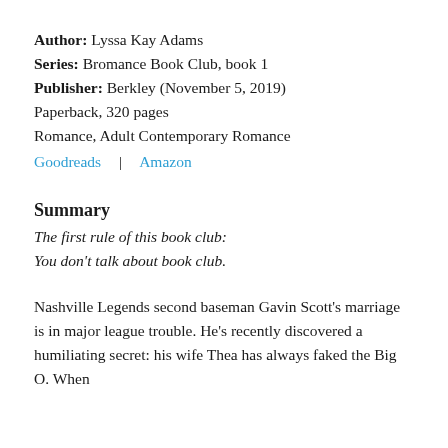Author: Lyssa Kay Adams
Series: Bromance Book Club, book 1
Publisher: Berkley (November 5, 2019)
Paperback, 320 pages
Romance, Adult Contemporary Romance
Goodreads | Amazon
Summary
The first rule of this book club:
You don't talk about book club.
Nashville Legends second baseman Gavin Scott's marriage is in major league trouble. He's recently discovered a humiliating secret: his wife Thea has always faked the Big O. When